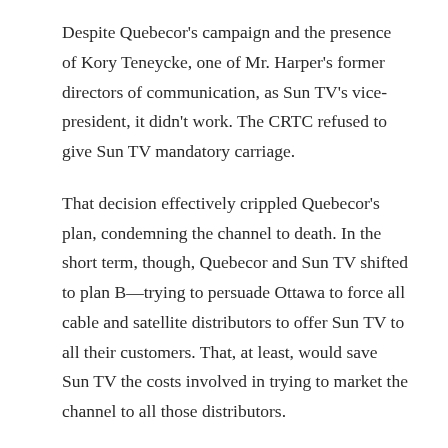Despite Quebecor's campaign and the presence of Kory Teneycke, one of Mr. Harper's former directors of communication, as Sun TV's vice-president, it didn't work. The CRTC refused to give Sun TV mandatory carriage.
That decision effectively crippled Quebecor's plan, condemning the channel to death. In the short term, though, Quebecor and Sun TV shifted to plan B—trying to persuade Ottawa to force all cable and satellite distributors to offer Sun TV to all their customers. That, at least, would save Sun TV the costs involved in trying to market the channel to all those distributors.
It didn't produce subscribers either, but on its third try,